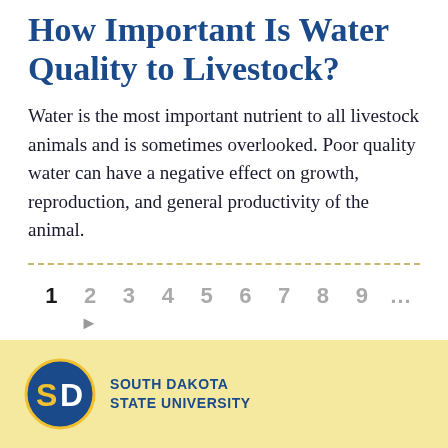How Important Is Water Quality to Livestock?
Water is the most important nutrient to all livestock animals and is sometimes overlooked. Poor quality water can have a negative effect on growth, reproduction, and general productivity of the animal.
South Dakota State University